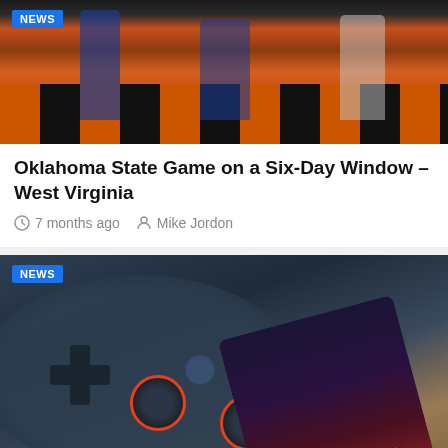[Figure (photo): Football players running on a field with orange and black striped turf, with a NEWS badge overlay]
Oklahoma State Game on a Six-Day Window – West Virginia
7 months ago  Mike Jordon
[Figure (photo): Google Stadia game controller in dark blue color next to a smartphone showing Marvel Avengers game, with NEWS badge and AH logo overlay]
Google Stadia tries something new: a free 30-minute game trial